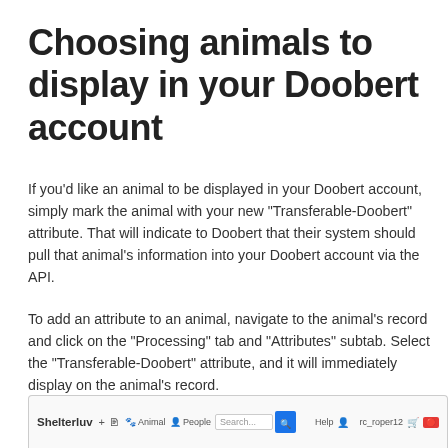Choosing animals to display in your Doobert account
If you'd like an animal to be displayed in your Doobert account, simply mark the animal with your new "Transferable-Doobert" attribute. That will indicate to Doobert that their system should pull that animal's information into your Doobert account via the API.
To add an attribute to an animal, navigate to the animal's record and click on the "Processing" tab and "Attributes" subtab. Select the "Transferable-Doobert" attribute, and it will immediately display on the animal's record.
[Figure (screenshot): Shelterluv application navigation bar screenshot showing logo, plus icon, Animal and People tabs, search bar with blue search button, Help link, user account (rc_roper12), cart icon, and red notification badge.]